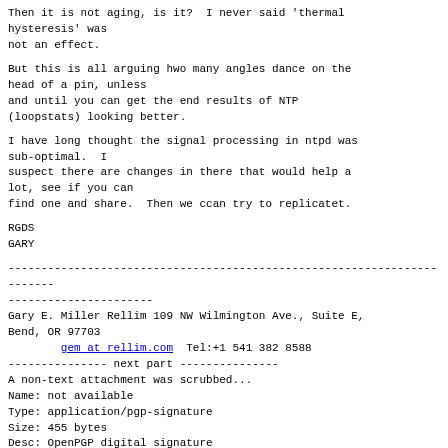Then it is not aging, is it?  I never said 'thermal hysteresis' was
not an effect.
But this is all arguing hwo many angles dance on the head of a pin, unless
and until you can get the end results of NTP
(loopstats) looking better.
I have long thought the signal processing in ntpd was sub-optimal.  I
suspect there are changes in there that would help a lot, see if you can
find one and share.  Then we ccan try to replicatet.
RGDS
GARY
------------------------------------------------------------------------
----------------------
Gary E. Miller Rellim 109 NW Wilmington Ave., Suite E,
Bend, OR 97703
        gem at rellim.com  Tel:+1 541 382 8588
--------------- next part ---------------
A non-text attachment was scrubbed...
Name: not available
Type: application/pgp-signature
Size: 455 bytes
Desc: OpenPGP digital signature
URL: